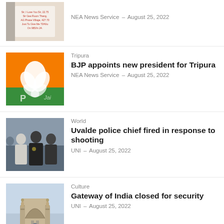[Figure (photo): Person holding handwritten note]
NEA News Service – August 25, 2022
[Figure (photo): BJP orange lotus flag]
Tripura
BJP appoints new president for Tripura
NEA News Service – August 25, 2022
[Figure (photo): Police officers in group conversation outdoors]
World
Uvalde police chief fired in response to shooting
UNI – August 25, 2022
[Figure (photo): Gateway of India monument]
Culture
Gateway of India closed for security
UNI – August 25, 2022